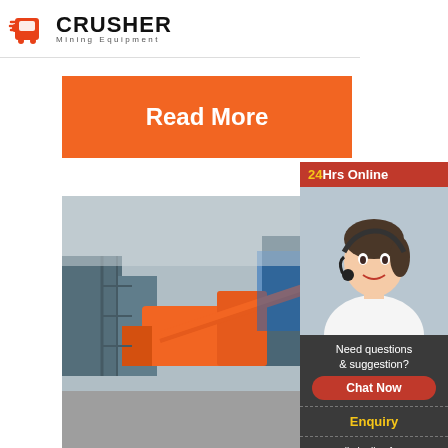[Figure (logo): Crusher Mining Equipment logo with orange shopping bag icon and bold CRUSHER text]
[Figure (other): Orange Read More button (top)]
[Figure (photo): Mining equipment / crusher plant site with orange machinery and conveyors outdoors]
Filter Pure Filtrat
Pure Filtr
[Figure (other): Orange Read More button (bottom)]
[Figure (other): Sidebar: 24Hrs Online banner, customer service agent photo, Need questions & suggestion? Chat Now button, Enquiry link, limingjlmofen@sina.com email]